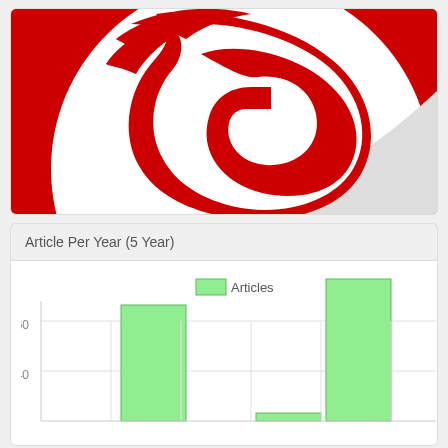[Figure (logo): Red and white logo with a stylized eagle/G letter mark on a red background with a large white circle]
Article Per Year (5 Year)
[Figure (bar-chart): Articles]